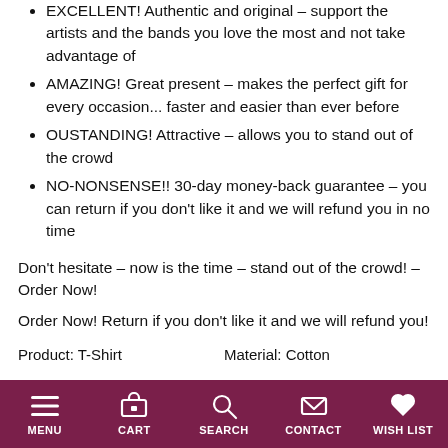EXCELLENT! Authentic and original – support the artists and the bands you love the most and not take advantage of
AMAZING! Great present – makes the perfect gift for every occasion... faster and easier than ever before
OUSTANDING! Attractive – allows you to stand out of the crowd
NO-NONSENSE!! 30-day money-back guarantee – you can return if you don't like it and we will refund you in no time
Don't hesitate – now is the time – stand out of the crowd! – Order Now!
Order Now! Return if you don't like it and we will refund you!
Product: T-Shirt    Material: Cotton
Color: Black    Fits: True To Size
MENU  CART  SEARCH  CONTACT  WISH LIST